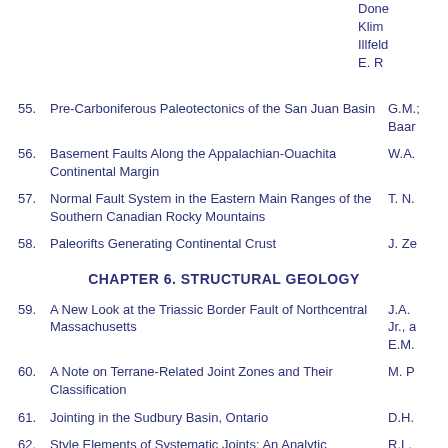Done
Klim
Illfeld
E. R
55. Pre-Carboniferous Paleotectonics of the San Juan Basin — G.M.; Baar
56. Basement Faults Along the Appalachian-Ouachita Continental Margin — W.A.
57. Normal Fault System in the Eastern Main Ranges of the Southern Canadian Rocky Mountains — T. N.
58. Paleorifts Generating Continental Crust — J. Ze
CHAPTER 6. STRUCTURAL GEOLOGY
59. A New Look at the Triassic Border Fault of Northcentral Massachusetts — J.A. Jr., a E.M.
60. A Note on Terrane-Related Joint Zones and Their Classification — M. P
61. Jointing in the Sudbury Basin, Ontario — D.H.
62. Style Elements of Systematic Joints: An Analytic Procedure With a Field Example — R.L.